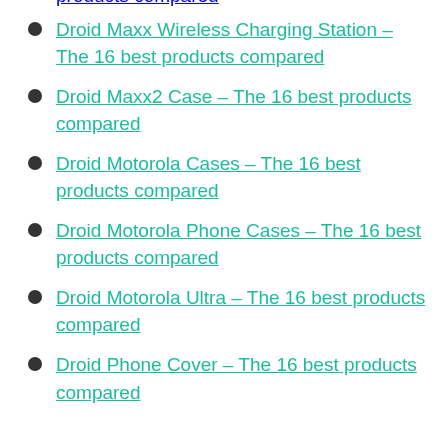products compared (partial, top of page)
Droid Maxx Wireless Charging Station – The 16 best products compared
Droid Maxx2 Case – The 16 best products compared
Droid Motorola Cases – The 16 best products compared
Droid Motorola Phone Cases – The 16 best products compared
Droid Motorola Ultra – The 16 best products compared
Droid Phone Cover – The 16 best products compared